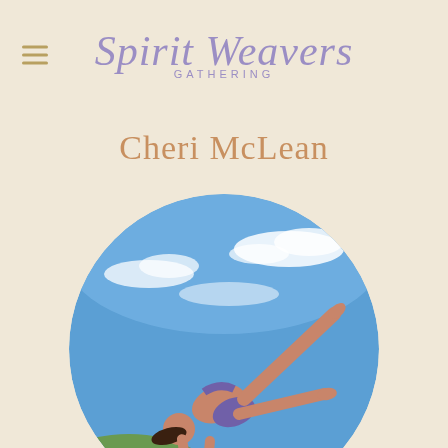Spirit Weavers Gathering
Cheri McLean
[Figure (photo): Woman performing a yoga/acrobatic pose outdoors against a bright blue sky with wispy clouds. She is in a side crow or flying lizard pose, balancing on her hands with one leg extended high and one leg tucked, wearing purple patterned athletic shorts and a matching top. Background shows green rolling hills and blue sky.]